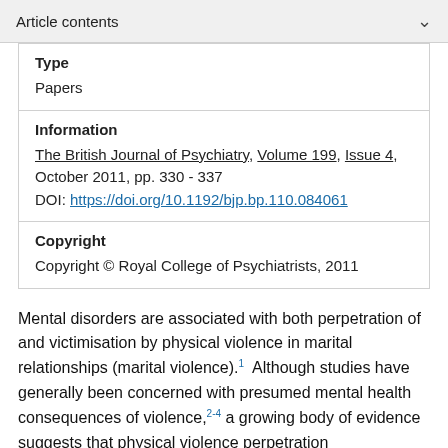Article contents
Type
Papers
Information
The British Journal of Psychiatry, Volume 199, Issue 4, October 2011, pp. 330 - 337
DOI: https://doi.org/10.1192/bjp.bp.110.084061
Copyright
Copyright © Royal College of Psychiatrists, 2011
Mental disorders are associated with both perpetration of and victimisation by physical violence in marital relationships (marital violence).1 Although studies have generally been concerned with presumed mental health consequences of violence,2-4 a growing body of evidence suggests that physical violence perpetration